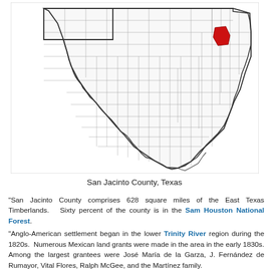[Figure (map): Map of Texas counties with San Jacinto County highlighted in red in the northeastern portion of the state.]
San Jacinto County, Texas
"San Jacinto County comprises 628 square miles of the East Texas Timberlands. Sixty percent of the county is in the Sam Houston National Forest.
"Anglo-American settlement began in the lower Trinity River region during the 1820s. Numerous Mexican land grants were made in the area in the early 1830s. Among the largest grantees were José María de la Garza, J. Fernández de Rumayor, Vital Flores, Ralph McGee, and the Martínez family.
"The first post office in the area was established in 1847 in Coonskin